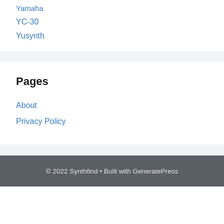Yamaha
YC-30
Yusynth
Pages
About
Privacy Policy
© 2022 Synthfind • Built with GeneratePress